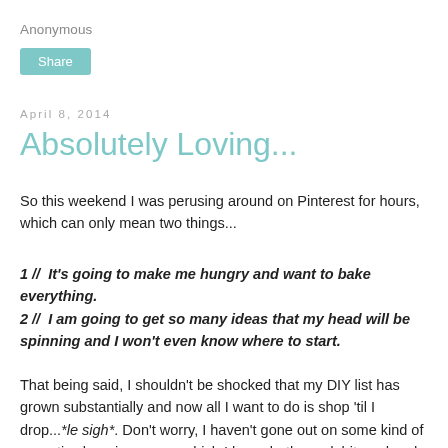Anonymous
Share
April 8, 2014
Absolutely Loving...
So this weekend I was perusing around on Pinterest for hours, which can only mean two things...
1 //  It's going to make me hungry and want to bake everything.
2 //  I am going to get so many ideas that my head will be spinning and I won't even know where to start.
That being said, I shouldn't be shocked that my DIY list has grown substantially and now all I want to do is shop 'til I drop...*le sigh*. Don't worry, I haven't gone out on some kind of neurotic shopping spree, which I know both my debit card and husband and thankful, but I am scheming. And scheming is never good...